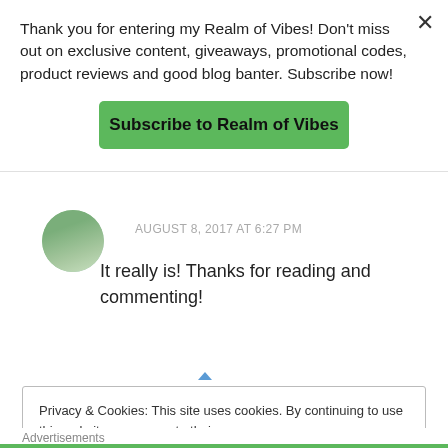Thank you for entering my Realm of Vibes! Don't miss out on exclusive content, giveaways, promotional codes, product reviews and good blog banter. Subscribe now!
Subscribe to Realm of Vibes
AUGUST 8, 2017 AT 6:27 PM
It really is! Thanks for reading and commenting!
Privacy & Cookies: This site uses cookies. By continuing to use this website, you agree to their use.
To find out more, including how to control cookies, see here: Cookie Policy
Close and accept
Advertisements